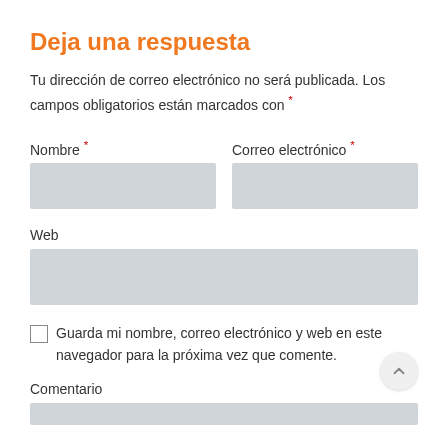Deja una respuesta
Tu dirección de correo electrónico no será publicada. Los campos obligatorios están marcados con *
Nombre *
Correo electrónico *
Web
Guarda mi nombre, correo electrónico y web en este navegador para la próxima vez que comente.
Comentario